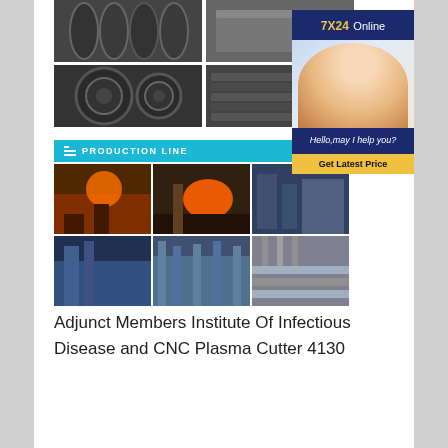[Figure (photo): Grid of steel product photos: steel pipes, steel plate, steel coils, stacked steel materials]
[Figure (infographic): 7X24 Online customer service banner with female agent wearing headset. Text: Hello,may I help you? and Get Latest Price button.]
[Figure (photo): Production Line header with teal background and 6 factory/production photos showing steel manufacturing processes]
Adjunct Members Institute Of Infectious Disease and CNC Plasma Cutter 4130